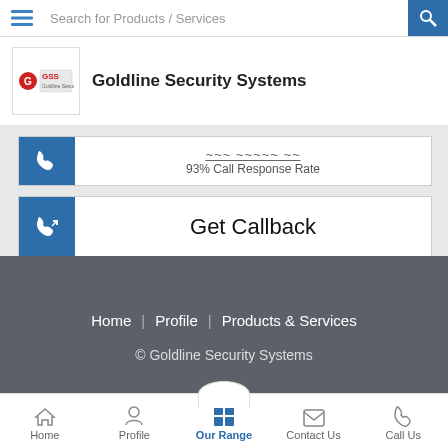Search for Products / Services
Goldline Security Systems
93% Call Response Rate
Get Callback
Home | Profile | Products & Services
© Goldline Security Systems
Back to Top
Home  Profile  Our Range  Contact Us  Call Us